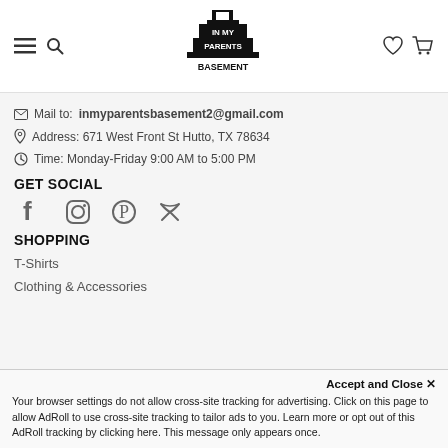In My Parents Basement — navigation header with logo, hamburger menu, search, wishlist, cart
✉ Mail to: inmyparentsbasement2@gmail.com
Address: 671 West Front St Hutto, TX 78634
Time: Monday-Friday 9:00 AM to 5:00 PM
GET SOCIAL
[Figure (illustration): Social media icons: Facebook, Instagram, Pinterest, Twitter]
SHOPPING
T-Shirts
Clothing & Accessories
Accept and Close ✕
Your browser settings do not allow cross-site tracking for advertising. Click on this page to allow AdRoll to use cross-site tracking to tailor ads to you. Learn more or opt out of this AdRoll tracking by clicking here. This message only appears once.